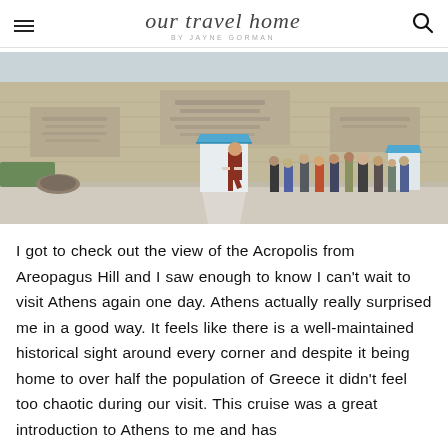our travel home BY JAYNE GORMAN
[Figure (photo): Outdoor scene at Syntagma Square in Athens, Greece, showing the Tomb of the Unknown Soldier monument with tourists watching the changing of the guard. A guard in traditional evzone uniform is visible mid-step near a blue-roofed sentry box. Large stone wall with inscriptions in background.]
I got to check out the view of the Acropolis from Areopagus Hill and I saw enough to know I can't wait to visit Athens again one day. Athens actually really surprised me in a good way. It feels like there is a well-maintained historical sight around every corner and despite it being home to over half the population of Greece it didn't feel too chaotic during our visit. This cruise was a great introduction to Athens to me and has